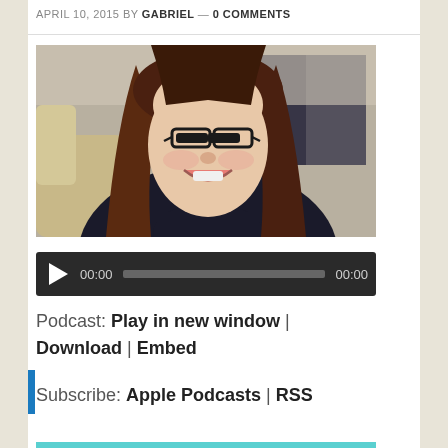APRIL 10, 2015 BY GABRIEL — 0 COMMENTS
[Figure (photo): Portrait photo of a smiling woman with long brown hair and glasses, wearing a dark turtleneck, indoors]
[Figure (screenshot): Audio player bar with play button, 00:00 timestamp, gray progress track, and 00:00 end time on dark background]
Podcast: Play in new window | Download | Embed
Subscribe: Apple Podcasts | RSS